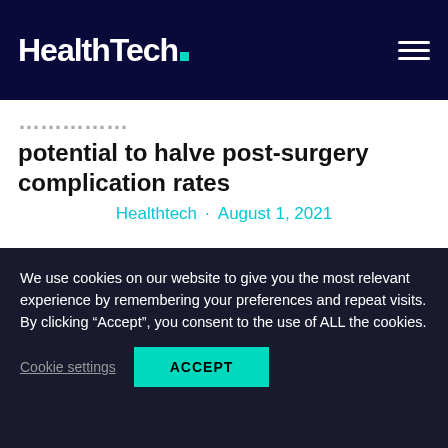HealthTech
potential to halve post-surgery complication rates
Healthtech · August 1, 2021
Healthcare app pioneer mhealth has partnered with the University Hospital of Southampton to create myOp, a high-potential app that aims to halve post-surgical complication rates and improve recovery
We use cookies on our website to give you the most relevant experience by remembering your preferences and repeat visits. By clicking "Accept", you consent to the use of ALL the cookies.